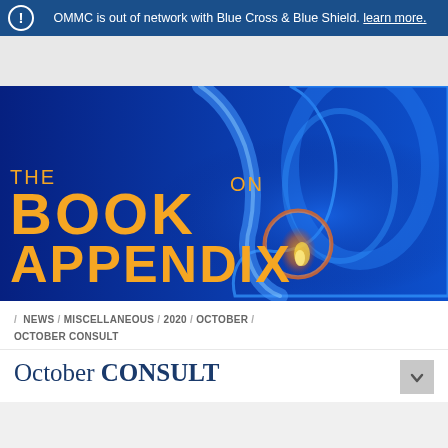OMMC is out of network with Blue Cross & Blue Shield. learn more.
[Figure (illustration): Medical illustration of the human digestive system on a dark blue background, with the appendix highlighted in an orange circle. Text overlay reads: THE BOOK ON APPENDIX in large orange bold letters.]
/ NEWS / MISCELLANEOUS / 2020 / OCTOBER / OCTOBER CONSULT
October CONSULT